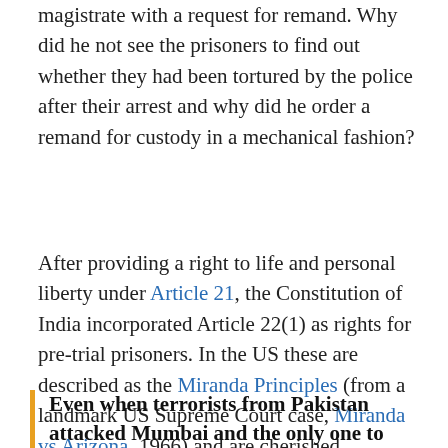magistrate with a request for remand. Why did he not see the prisoners to find out whether they had been tortured by the police after their arrest and why did he order a remand for custody in a mechanical fashion?
After providing a right to life and personal liberty under Article 21, the Constitution of India incorporated Article 22(1) as rights for pre-trial prisoners. In the US these are described as the Miranda Principles (from a landmark US Supreme Court case, Miranda vs Arizona, 1966) and are cherished, guaranteeing minimum safeguards for pre-trial accused.
Even when terrorists from Pakistan attacked Mumbai and the only one to survive...